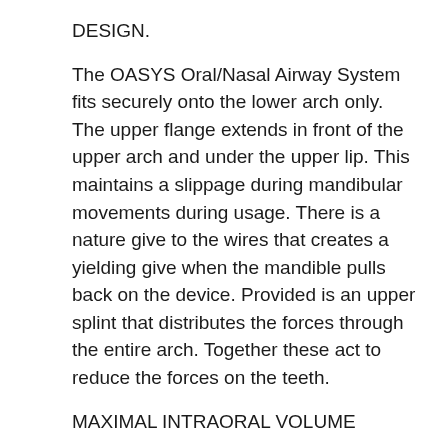DESIGN.
The OASYS Oral/Nasal Airway System fits securely onto the lower arch only. The upper flange extends in front of the upper arch and under the upper lip. This maintains a slippage during mandibular movements during usage. There is a nature give to the wires that creates a yielding give when the mandible pulls back on the device. Provided is an upper splint that distributes the forces through the entire arch. Together these act to reduce the forces on the teeth.
MAXIMAL INTRAORAL VOLUME
The OASYS Oral/Nasal Airway System maintains maximal tongue space by positioning the